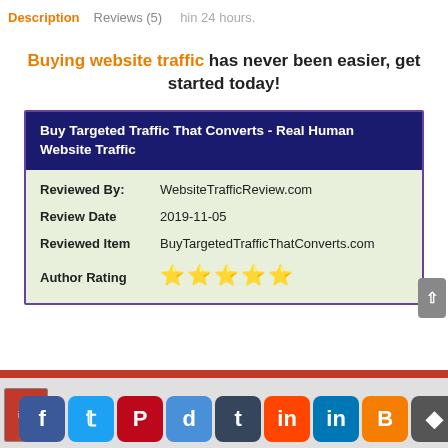Description | Reviews (5) | within 24 hours.
Buying website traffic has never been easier, get started today!
| Field | Value |
| --- | --- |
| Reviewed By: | WebsiteTrafficReview.com |
| Review Date | 2019-11-05 |
| Reviewed Item | BuyTargetedTrafficThatConverts.com |
| Author Rating | ★★★★★ |